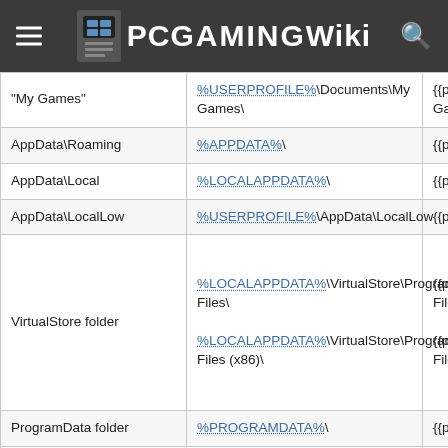PCGamingWiki
| Label | Path | Template |
| --- | --- | --- |
| "My Games" | %USERPROFILE%\Documents\My Games\ | {{p|u...Gam |
| AppData\Roaming | %APPDATA%\ | {{p|a... |
| AppData\Local | %LOCALAPPDATA%\ | {{p|l... |
| AppData\LocalLow | %USERPROFILE%\AppData\LocalLow | {{p|u... |
| VirtualStore folder | %LOCALAPPDATA%\VirtualStore\Program Files\
%LOCALAPPDATA%\VirtualStore\Program Files (x86)\ | {{p|l...Files\
{{p|l...Files |
| ProgramData folder | %PROGRAMDATA%\ | {{p|p... |
| HKEY_CURRENT_USER | HKEY_CURRENT_USER\Software\ | {{p|h... |